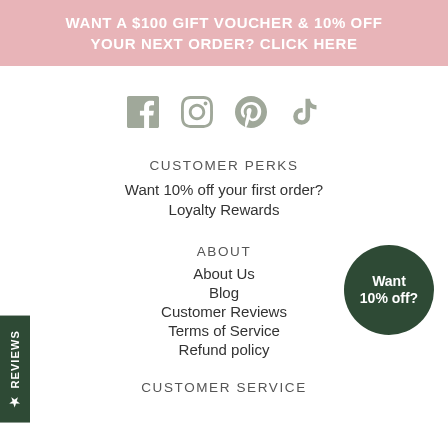WANT A $100 GIFT VOUCHER & 10% OFF YOUR NEXT ORDER? CLICK HERE
[Figure (illustration): Social media icons: Facebook, Instagram, Pinterest, TikTok]
CUSTOMER PERKS
Want 10% off your first order?
Loyalty Rewards
ABOUT
About Us
Blog
Customer Reviews
Terms of Service
Refund policy
[Figure (infographic): Dark green circle badge with text 'Want 10% off?']
CUSTOMER SERVICE